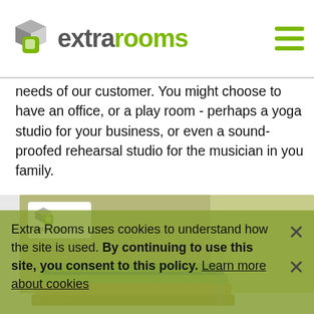extra rooms
needs of our customer. You might choose to have an office, or a play room - perhaps a yoga studio for your business, or even a sound-proofed rehearsal studio for the musician in you family.

Whatever you choose, you can rely on us to deliver your garden office in Lancashire.
[Figure (photo): Photo of Extra Rooms brochure/booklet with olive-green cover showing the Extra Rooms logo and text, with some books stacked in front.]
Extra Rooms uses cookies to understand how the site is used. By continuing to use this site, you consent to this policy. Learn more about cookies